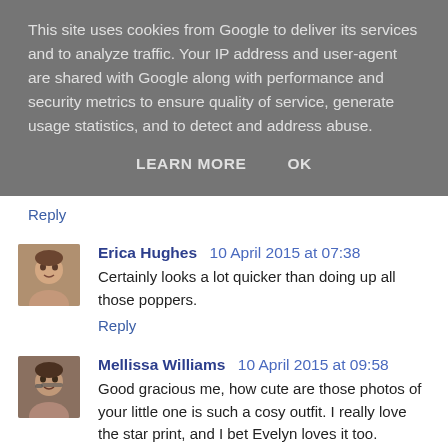This site uses cookies from Google to deliver its services and to analyze traffic. Your IP address and user-agent are shared with Google along with performance and security metrics to ensure quality of service, generate usage statistics, and to detect and address abuse.
LEARN MORE   OK
Reply
Erica Hughes  10 April 2015 at 07:38
Certainly looks a lot quicker than doing up all those poppers.
Reply
Mellissa Williams  10 April 2015 at 09:58
Good gracious me, how cute are those photos of your little one is such a cosy outfit. I really love the star print, and I bet Evelyn loves it too.